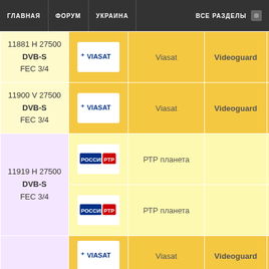ГЛАВНАЯ | ФОРУМ | УКРАИНА | ВСЕ РАЗДЕЛЫ
| Частота | Логотип | Канал | Шифрование | № |
| --- | --- | --- | --- | --- |
| 11881 H 27500 DVB-S FEC 3/4 | Viasat | Viasat | Videoguard |  |
| 11900 V 27500 DVB-S FEC 3/4 | Viasat | Viasat | Videoguard |  |
| 11919 H 27500 DVB-S FEC 3/4 | Россия РТР | РТР планета |  | 4420 |
| 11919 H 27500 DVB-S FEC 3/4 | Россия РТР | РТР планета |  | 4420 |
|  | Viasat | Viasat | Videoguard |  |